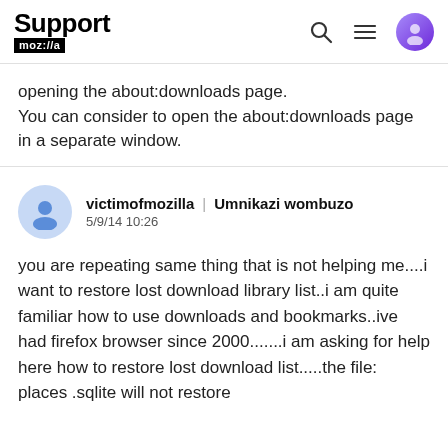Support moz://a
opening the about:downloads page.
You can consider to open the about:downloads page in a separate window.
victimofmozilla | Umnikazi wombuzo
5/9/14 10:26
you are repeating same thing that is not helping me....i want to restore lost download library list..i am quite familiar how to use downloads and bookmarks..ive had firefox browser since 2000.......i am asking for help here how to restore lost download list.....the file: places .sqlite will not restore